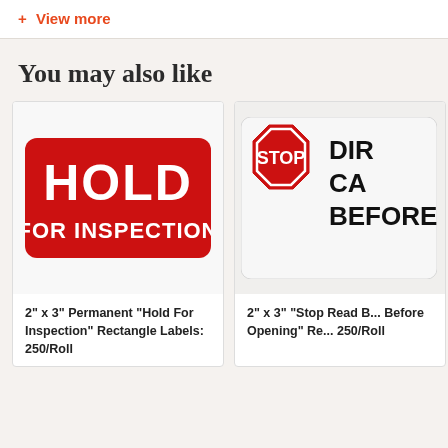+ View more
You may also like
[Figure (photo): Red rectangle label with white bold text reading HOLD FOR INSPECTION]
2" x 3" Permanent "Hold For Inspection" Rectangle Labels: 250/Roll
[Figure (photo): Partially visible label showing a red STOP octagon sign with bold black text DIR... CA... BEFORE...]
2" x 3" "Stop Read B... Before Opening" Re... 250/Roll